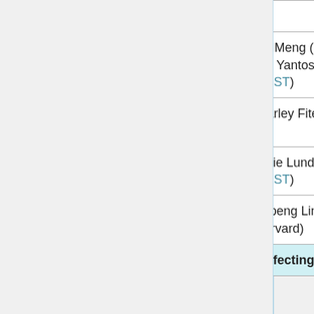| Description | Contributor | Type |
| --- | --- | --- |
| grid simulations |  | Bug f... |
| Bug fix in computation of AOD from isoprene SOA diagnostic | Jun Meng (GCST)
Bob Yantosca (GCST) | Bug f... |
| Bug fixes for ObsPack diagnostic re: instantaneous sampling | Charley Fite (FSU) | Bug f... |
| Fix for segmentation fault when dry deposition is turned off | Lizzie Lundgren (GCST) | Bug f... |
| Fix WRF-GC SetGridFromCtrEdges interface | Haipeng Lin (Harvard) | Bug f... |
| Features only affecting... |  |  |